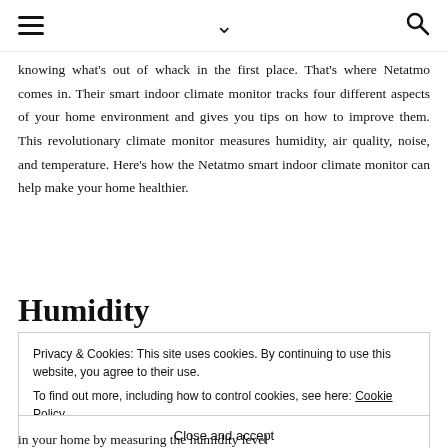≡  ∨  🔍
knowing what's out of whack in the first place. That's where Netatmo comes in. Their smart indoor climate monitor tracks four different aspects of your home environment and gives you tips on how to improve them. This revolutionary climate monitor measures humidity, air quality, noise, and temperature. Here's how the Netatmo smart indoor climate monitor can help make your home healthier.
Humidity
Privacy & Cookies: This site uses cookies. By continuing to use this website, you agree to their use.
To find out more, including how to control cookies, see here: Cookie Policy
Close and accept
in your home by measuring the humidity level